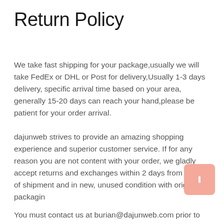Return Policy
We take fast shipping for your package,usually we will take FedEx or DHL or Post for delivery,Usually 1-3 days delivery, specific arrival time based on your area, generally 15-20 days can reach your hand,please be patient for your order arrival.
dajunweb strives to provide an amazing shopping experience and superior customer service. If for any reason you are not content with your order, we gladly accept returns and exchanges within 2 days from the date of shipment and in new, unused condition with original packagin
You must contact us at burian@dajunweb.com prior to